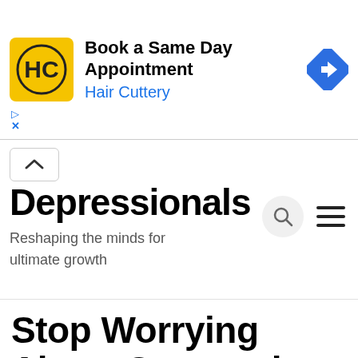[Figure (screenshot): Hair Cuttery advertisement banner with yellow logo, text 'Book a Same Day Appointment', 'Hair Cuttery' in blue, and a blue diamond navigation icon on the right.]
Depressionals
Reshaping the minds for ultimate growth
Stop Worrying About Coronavirus